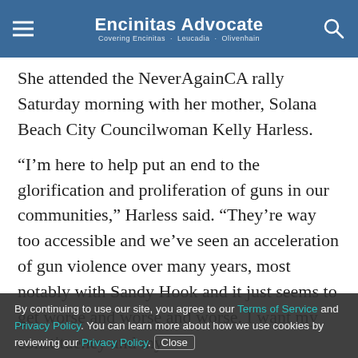Encinitas Advocate
She attended the NeverAgainCA rally Saturday morning with her mother, Solana Beach City Councilwoman Kelly Harless.
“I’m here to help put an end to the glorification and proliferation of guns in our communities,” Harless said. “They’re way too accessible and we’ve seen an acceleration of gun violence over many years, most notably with Sandy Hook and it just seems to get worse and worse and worse. I want my constituency and my daughter to feel safe.”
By continuing to use our site, you agree to our Terms of Service and Privacy Policy. You can learn more about how we use cookies by reviewing our Privacy Policy. Close
…shows have been held at the